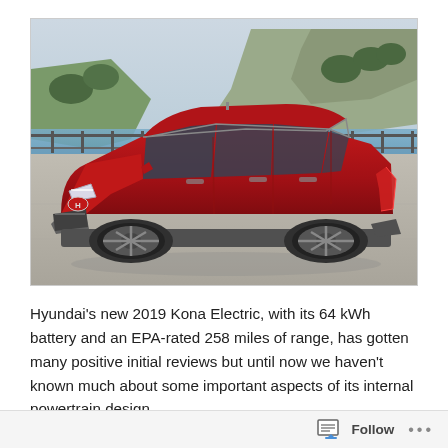[Figure (photo): A red Hyundai Kona Electric SUV parked on pavement with hills, water, and sky in the background. The car is facing left-front quarter view.]
Hyundai's new 2019 Kona Electric, with its 64 kWh battery and an EPA-rated 258 miles of range, has gotten many positive initial reviews but until now we haven't known much about some important aspects of its internal powertrain design.
Follow ...